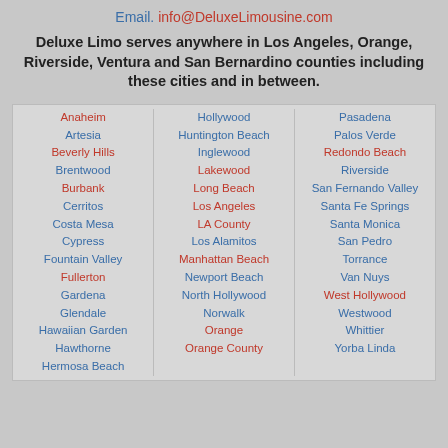Email. info@DeluxeLimousine.com
Deluxe Limo serves anywhere in Los Angeles, Orange, Riverside, Ventura and San Bernardino counties including these cities and in between.
| Column 1 | Column 2 | Column 3 |
| --- | --- | --- |
| Anaheim | Hollywood | Pasadena |
| Artesia | Huntington Beach | Palos Verde |
| Beverly Hills | Inglewood | Redondo Beach |
| Brentwood | Lakewood | Riverside |
| Burbank | Long Beach | San Fernando Valley |
| Cerritos | Los Angeles | Santa Fe Springs |
| Costa Mesa | LA County | Santa Monica |
| Cypress | Los Alamitos | San Pedro |
| Fountain Valley | Manhattan Beach | Torrance |
| Fullerton | Newport Beach | Van Nuys |
| Gardena | North Hollywood | West Hollywood |
| Glendale | Norwalk | Westwood |
| Hawaiian Garden | Orange | Whittier |
| Hawthorne | Orange County | Yorba Linda |
| Hermosa Beach |  |  |